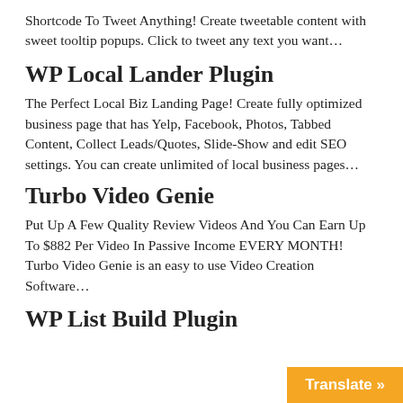Shortcode To Tweet Anything! Create tweetable content with sweet tooltip popups. Click to tweet any text you want…
WP Local Lander Plugin
The Perfect Local Biz Landing Page! Create fully optimized business page that has Yelp, Facebook, Photos, Tabbed Content, Collect Leads/Quotes, Slide-Show and edit SEO settings. You can create unlimited of local business pages…
Turbo Video Genie
Put Up A Few Quality Review Videos And You Can Earn Up To $882 Per Video In Passive Income EVERY MONTH! Turbo Video Genie is an easy to use Video Creation Software…
WP List Build Plugin